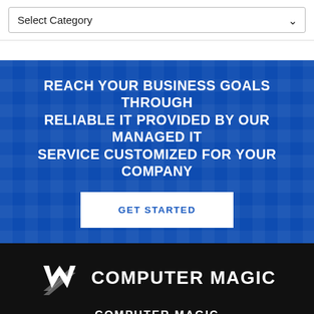[Figure (screenshot): A dropdown select box with label 'Select Category' and a chevron/caret on the right side]
REACH YOUR BUSINESS GOALS THROUGH RELIABLE IT PROVIDED BY OUR MANAGED IT SERVICE CUSTOMIZED FOR YOUR COMPANY
GET STARTED
[Figure (logo): Computer Magic logo: stylized M/chevron icon in white on black background, next to bold white text 'COMPUTER MAGIC']
COMPUTER MAGIC
101 Nichols Rd